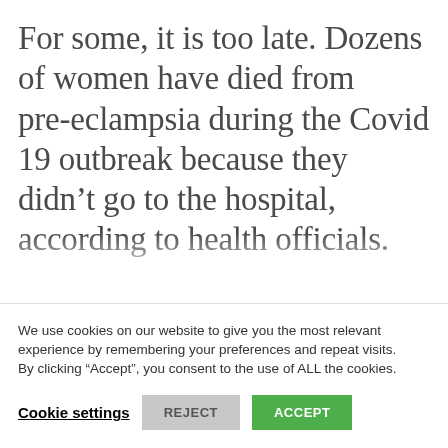For some, it is too late. Dozens of women have died from pre-eclampsia during the Covid 19 outbreak because they didn't go to the hospital, according to health officials.
Meanwhile, healthcare workers continue to fight a two-front war between pre-eclampsia and coronavirus to save as many lives as
We use cookies on our website to give you the most relevant experience by remembering your preferences and repeat visits. By clicking "Accept", you consent to the use of ALL the cookies.
Cookie settings  REJECT  ACCEPT